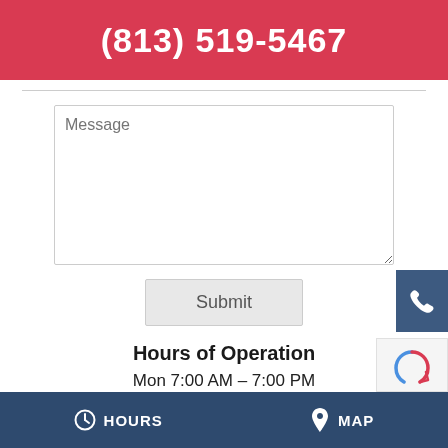(813) 519-5467
[Figure (screenshot): Message text area form field with placeholder text 'Message']
Submit
Hours of Operation
Mon 7:00 AM – 7:00 PM
Tue 7:00 AM – 7:00 PM
Wed 7:00 AM – 7:00 PM
HOURS    MAP